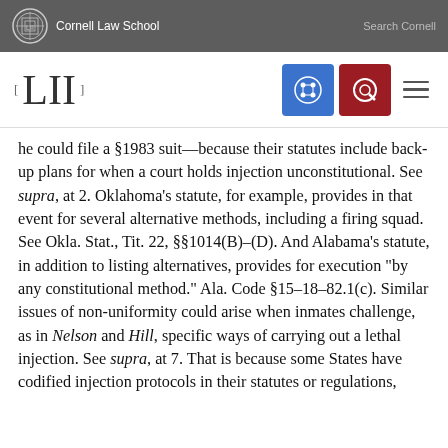Cornell Law School — Search Cornell
[LII]
he could file a §1983 suit—because their statutes include back-up plans for when a court holds injection unconstitutional. See supra, at 2. Oklahoma's statute, for example, provides in that event for several alternative methods, including a firing squad. See Okla. Stat., Tit. 22, §§1014(B)–(D). And Alabama's statute, in addition to listing alternatives, provides for execution "by any constitutional method." Ala. Code §15–18–82.1(c). Similar issues of non-uniformity could arise when inmates challenge, as in Nelson and Hill, specific ways of carrying out a lethal injection. See supra, at 7. That is because some States have codified injection protocols in their statutes or regulations,